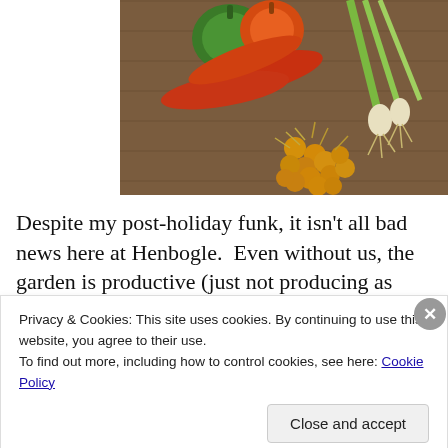[Figure (photo): Assorted vegetables including orange and green peppers, spring onions with roots, and small orange/yellow cherry tomatoes arranged on a wooden surface.]
Despite my post-holiday funk, it isn't all bad news here at Henbogle.  Even without us, the garden is productive (just not producing as much of what WE want).  Dan is picking
Privacy & Cookies: This site uses cookies. By continuing to use this website, you agree to their use.
To find out more, including how to control cookies, see here: Cookie Policy
Close and accept